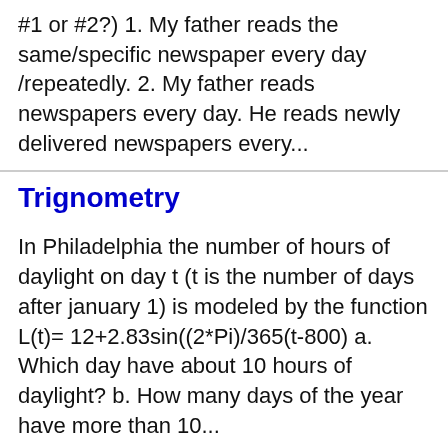#1 or #2?) 1. My father reads the same/specific newspaper every day /repeatedly. 2. My father reads newspapers every day. He reads newly delivered newspapers every...
Trignometry
In Philadelphia the number of hours of daylight on day t (t is the number of days after january 1) is modeled by the function L(t)= 12+2.83sin((2*Pi)/365(t-800) a. Which day have about 10 hours of daylight? b. How many days of the year have more than 10...